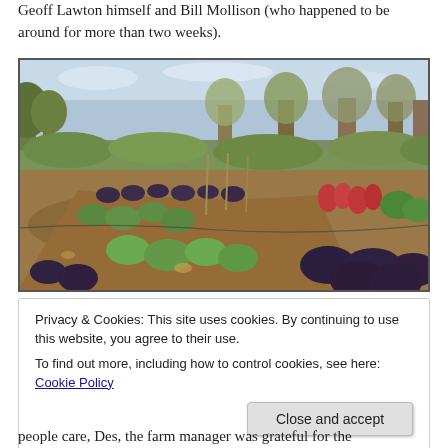Geoff Lawton himself and Bill Mollison (who happened to be around for more than two weeks).
[Figure (photo): Outdoor permaculture garden with rows of leafy green and purple/dark cabbage plants growing in mulched raised beds, surrounded by trees in the background. A lush, productive food forest garden scene.]
Privacy & Cookies: This site uses cookies. By continuing to use this website, you agree to their use.
To find out more, including how to control cookies, see here: Cookie Policy
people care, Des, the farm manager was grateful for the